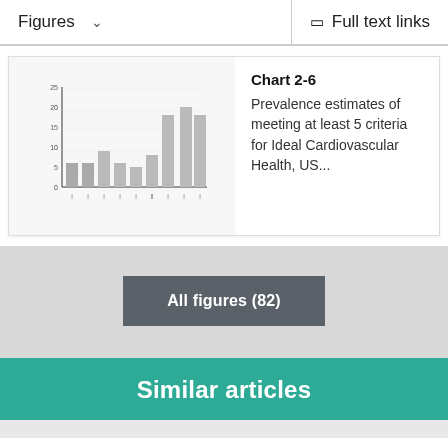Figures   ∨   Full text links
[Figure (bar-chart): Prevalence estimates of meeting at least 5 criteria for Ideal Cardiovascular Health, US...]
Chart 2-6
Prevalence estimates of meeting at least 5 criteria for Ideal Cardiovascular Health, US...
All figures (82)
Similar articles